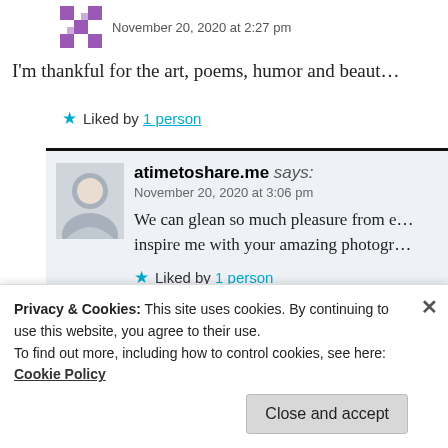November 20, 2020 at 2:27 pm
I'm thankful for the art, poems, humor and beaut…
★ Liked by 1 person
atimetoshare.me says:
November 20, 2020 at 3:06 pm
We can glean so much pleasure from e… inspire me with your amazing photogr…
★ Liked by 1 person
Privacy & Cookies: This site uses cookies. By continuing to use this website, you agree to their use.
To find out more, including how to control cookies, see here: Cookie Policy
Close and accept